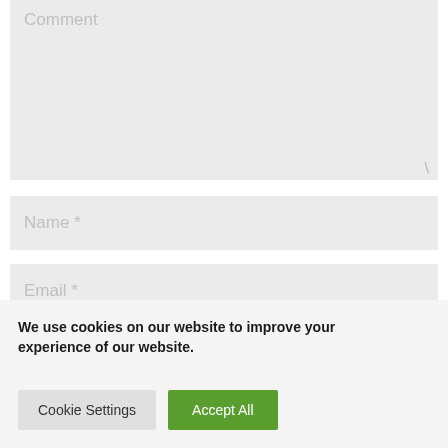Comment
Name *
Email *
We use cookies on our website to improve your experience of our website.
Cookie Settings
Accept All